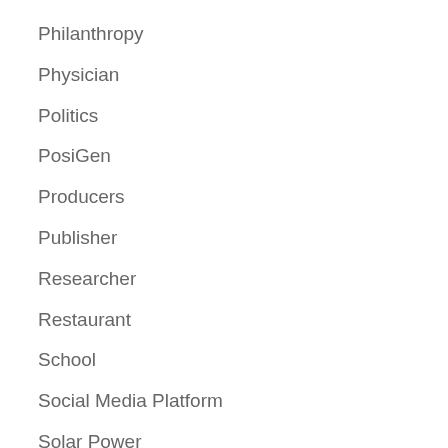Philanthropy
Physician
Politics
PosiGen
Producers
Publisher
Researcher
Restaurant
School
Social Media Platform
Solar Power
Sport News